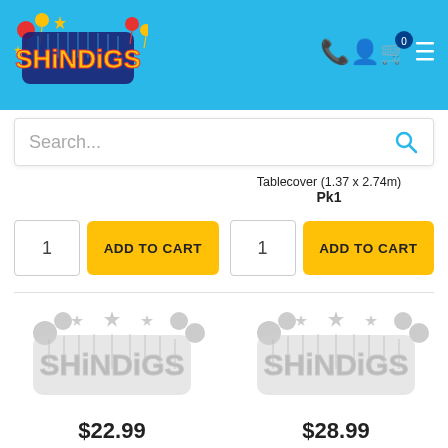[Figure (logo): Shindigs colorful party supply store logo with balloons and stars on blue header background]
Search...
Tablecover (1.37 x 2.74m) Pk1
1  ADD TO CART  1  ADD TO CART
[Figure (logo): Shindigs logo greyscale watermark placeholder for product image]
[Figure (logo): Shindigs logo greyscale watermark placeholder for product image]
$22.99
$28.99